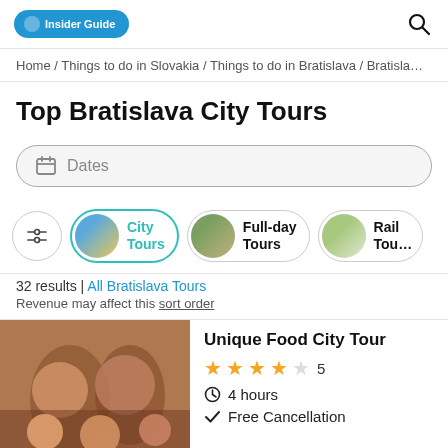Insider Guide [logo] [search icon]
Home / Things to do in Slovakia / Things to do in Bratislava / Bratisla...
Top Bratislava City Tours
Dates
[Figure (infographic): Filter pills: settings icon, City Tours (active, teal border), Full-day Tours, Rail Tou...]
32 results | All Bratislava Tours
Revenue may affect this sort order
Unique Food City Tour
★★★★☆ 5
⏱ 4 hours
✓ Free Cancellation